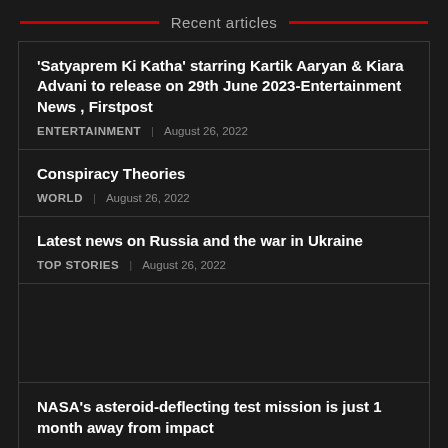Recent articles
'Satyaprem Ki Katha' starring Kartik Aaryan & Kiara Advani to release on 29th June 2023-Entertainment News , Firstpost
ENTERTAINMENT | August 26, 2022
Conspiracy Theories
WORLD | August 26, 2022
Latest news on Russia and the war in Ukraine
TOP STORIES | August 26, 2022
NASA's asteroid-deflecting test mission is just 1 month away from impact
TECH | August 26, 2022